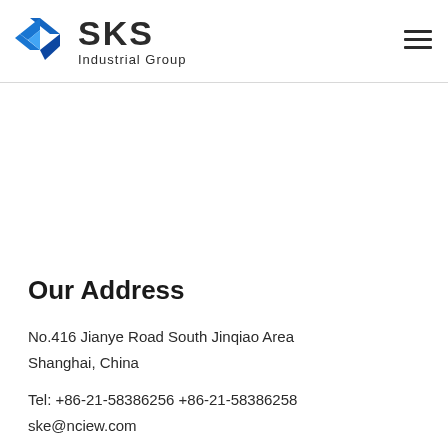[Figure (logo): SKS Industrial Group logo with blue angular/chevron icon and text 'SKS Industrial Group']
Our Address
No.416 Jianye Road South Jinqiao Area
Shanghai, China
Tel: +86-21-58386256 +86-21-58386258
ske@nciew.com